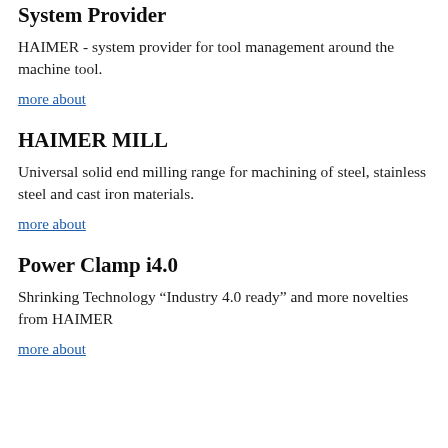measuring in HAIMER Quality
more about
System Provider
HAIMER - system provider for tool management around the machine tool.
more about
HAIMER MILL
Universal solid end milling range for machining of steel, stainless steel and cast iron materials.
more about
Power Clamp i4.0
Shrinking Technology “Industry 4.0 ready” and more novelties from HAIMER
more about